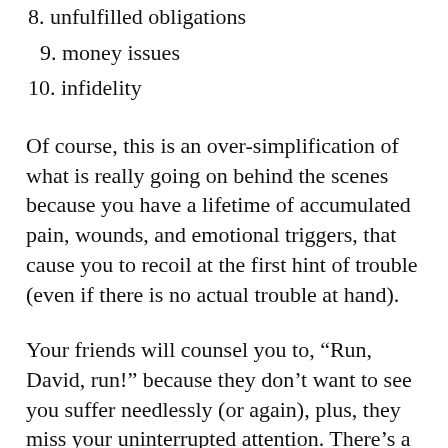8. unfulfilled obligations
9. money issues
10. infidelity
Of course, this is an over-simplification of what is really going on behind the scenes because you have a lifetime of accumulated pain, wounds, and emotional triggers, that cause you to recoil at the first hint of trouble (even if there is no actual trouble at hand).
Your friends will counsel you to, “Run, David, run!” because they don’t want to see you suffer needlessly (or again), plus, they miss your uninterrupted attention. There’s a good chance that your best friends see their relationship with you as far more meaningful than that of